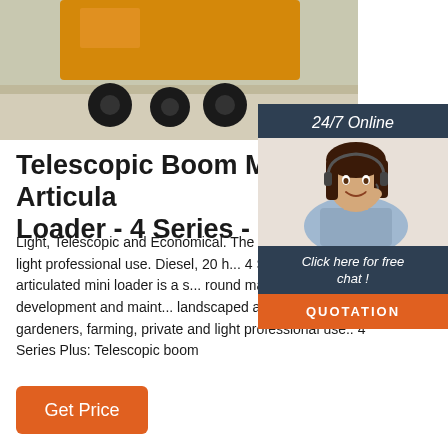[Figure (photo): Top portion of a yellow forklift/loader machine in a warehouse setting with concrete floor. Image is cropped showing wheels at the bottom.]
[Figure (photo): 24/7 Online chat widget showing a female customer service agent wearing a headset, with a dark navy background. Contains text '24/7 Online', 'Click here for free chat!', and an orange 'QUOTATION' button.]
Telescopic Boom Mini Articulated Loader - 4 Series - Multione
Light, Telescopic and Economical. The Mini Loader is for private and light professional use. Diesel, 20 h... 4 Series compact articulated mini loader is a s... round machine for the development and maint... landscaped areas, perfect for gardeners, farming, private and light professional use.. 4 Series Plus: Telescopic boom
Get Price